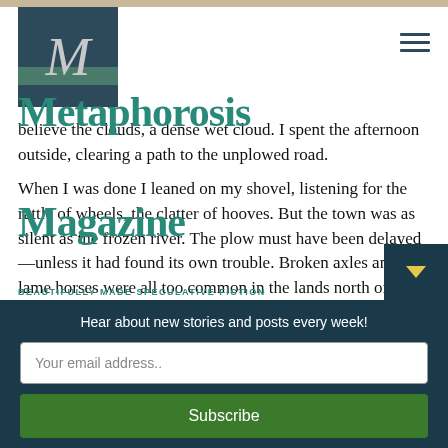[Figure (logo): Metaphorosis Magazine logo: dark teal square with italic M letterform and horizontal stripe]
Metaphorosis
Magazine
BEAUTIFULLY MADE SPECULATIVE FICTION
believe the clouds, a dense wet cloud. I spent the afternoon outside, clearing a path to the unplowed road.
When I was done I leaned on my shovel, listening for the rattle of wheels, the clatter of hooves. But the town was as silent as the frozen river. The plow must have been delayed—unless it had found its own trouble. Broken axles and lame horses were all too common in the lands north of Havenstok.
I returned to the house. I'd made a fire that morning, heat forced sweat from my skin and fogged the lens
Hear about new stories and posts every week!
Your email address..
Subscribe